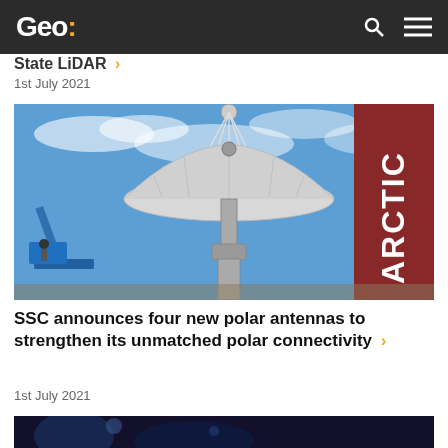Geo:
State LiDAR ›
1st July 2021
[Figure (photo): A large satellite dish antenna being installed or positioned using a red ARCTIC crane and a blue cherry picker lift, against a blue sky with light clouds.]
SSC announces four new polar antennas to strengthen its unmatched polar connectivity ›
1st July 2021
[Figure (photo): Bottom portion of another article image, dark blue/purple coloring, partially visible.]